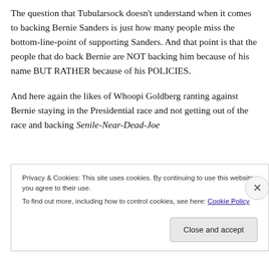The question that Tubularsock doesn't understand when it comes to backing Bernie Sanders is just how many people miss the bottom-line-point of supporting Sanders. And that point is that the people that do back Bernie are NOT backing him because of his name BUT RATHER because of his POLICIES.
And here again the likes of Whoopi Goldberg ranting against Bernie staying in the Presidential race and not getting out of the race and backing Senile-Near-Dead-Joe
Privacy & Cookies: This site uses cookies. By continuing to use this website, you agree to their use.
To find out more, including how to control cookies, see here: Cookie Policy